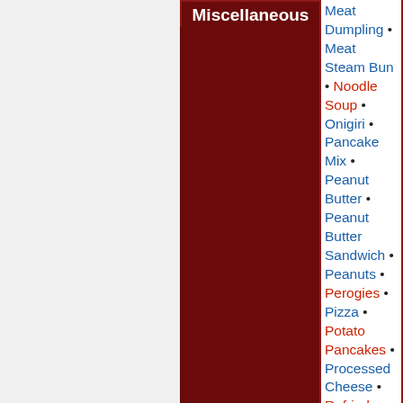Miscellaneous
Meat Dumpling • Meat Steam Bun • Noodle Soup • Onigiri • Pancake Mix • Peanut Butter • Peanut Butter Sandwich • Peanuts • Perogies • Pizza • Potato Pancakes • Processed Cheese • Refried Beans • Remoulade • Shrimp Dumpling • Spring Roll